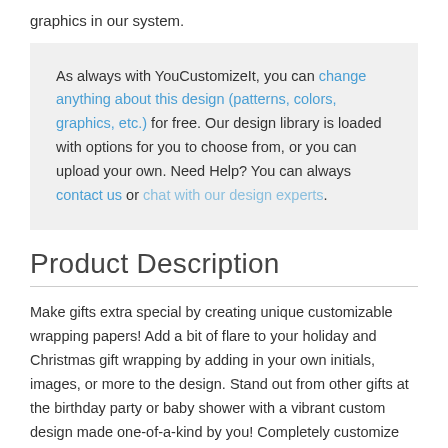graphics in our system.
As always with YouCustomizeIt, you can change anything about this design (patterns, colors, graphics, etc.) for free. Our design library is loaded with options for you to choose from, or you can upload your own. Need Help? You can always contact us or chat with our design experts.
Product Description
Make gifts extra special by creating unique customizable wrapping papers! Add a bit of flare to your holiday and Christmas gift wrapping by adding in your own initials, images, or more to the design. Stand out from other gifts at the birthday party or baby shower with a vibrant custom design made one-of-a-kind by you! Completely customize and create your own or use one of our many free designs.
Our personalized wrapping papers are freshly printed to your order. Each custom wrapping paper is printed over a white premiere scratch and water resistant material. The wrapping...